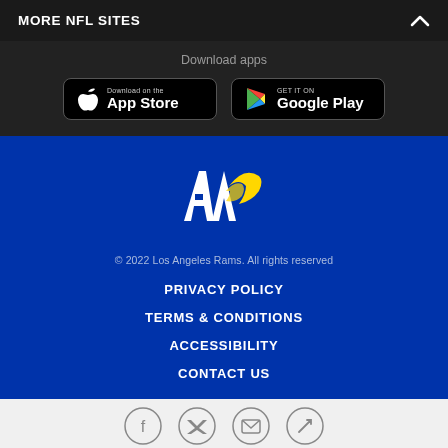MORE NFL SITES
Download apps
[Figure (screenshot): Download on the App Store button]
[Figure (screenshot): GET IT ON Google Play button]
[Figure (logo): Los Angeles Rams logo - white LA letters with yellow ram horn]
© 2022 Los Angeles Rams. All rights reserved
PRIVACY POLICY
TERMS & CONDITIONS
ACCESSIBILITY
CONTACT US
[Figure (infographic): Social media icons: Facebook, Twitter, Email, Link]